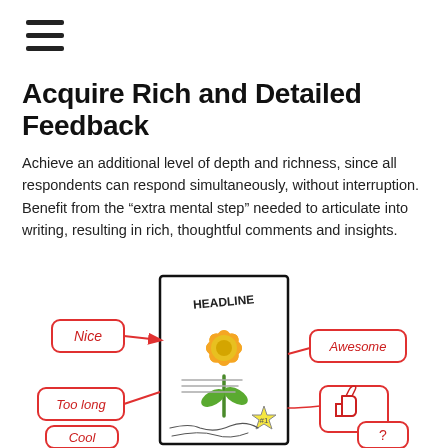[Figure (illustration): Hamburger menu icon (three horizontal lines)]
Acquire Rich and Detailed Feedback
Achieve an additional level of depth and richness, since all respondents can respond simultaneously, without interruption. Benefit from the “extra mental step” needed to articulate into writing, resulting in rich, thoughtful comments and insights.
[Figure (illustration): An illustrated feedback diagram showing a document with a flower image labeled HEADLINE, surrounded by speech bubbles and callouts in red hand-drawn style with labels: Nice, Awesome, Too long, thumbs-down icon, Cool, question mark]